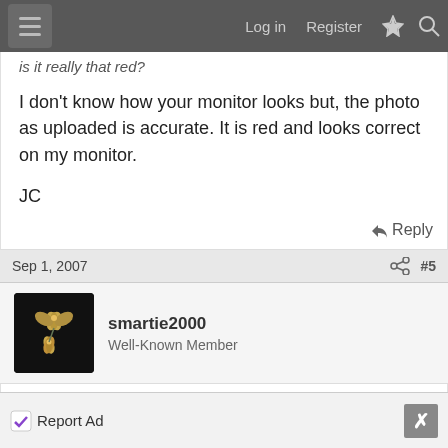Log in  Register
is it really that red?
I don't know how your monitor looks but, the photo as uploaded is accurate. It is red and looks correct on my monitor.
JC
Reply
Sep 1, 2007  #5
smartie2000
Well-Known Member
yea the colour is great... and you hope it will be even
Report Ad